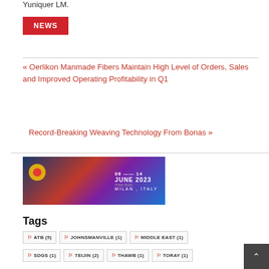Yuniquer LM.
NEWS
« Oerlikon Manmade Fibers Maintain High Level of Orders, Sales and Improved Operating Profitability in Q1
Record-Breaking Weaving Technology From Bonas »
[Figure (photo): ITMA 2023 banner: 08-14 June 2023, Milan, Italy]
Tags
ATB (5)
JOHNSMANVILLE (1)
MIDDLE EAST (1)
SDGS (1)
TEIJIN (2)
THAWB (1)
TORAY (1)